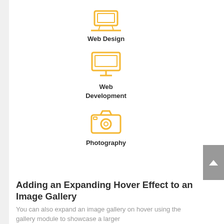[Figure (illustration): Yellow laptop icon representing Web Design]
Web Design
[Figure (illustration): Yellow desktop monitor icon representing Web Development]
Web Development
[Figure (illustration): Yellow camera icon representing Photography]
Photography
Adding an Expanding Hover Effect to an Image Gallery
You can also expand an image gallery on hover using the gallery module to showcase a larger